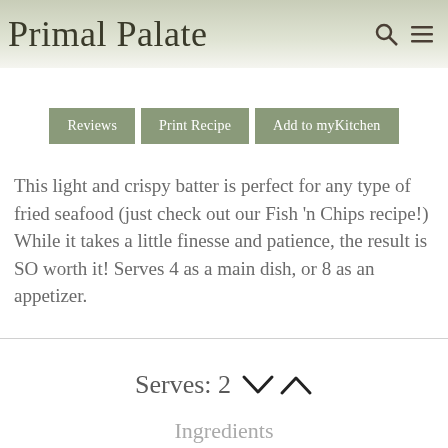Primal Palate
Reviews  Print Recipe  Add to myKitchen
This light and crispy batter is perfect for any type of fried seafood (just check out our Fish 'n Chips recipe!) While it takes a little finesse and patience, the result is SO worth it! Serves 4 as a main dish, or 8 as an appetizer.
Serves: 2
Ingredients